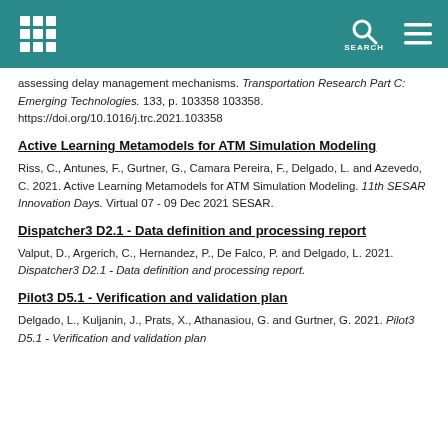SEARCH
assessing delay management mechanisms. Transportation Research Part C: Emerging Technologies. 133, p. 103358 103358. https://doi.org/10.1016/j.trc.2021.103358
Active Learning Metamodels for ATM Simulation Modeling
Riss, C., Antunes, F., Gurtner, G., Camara Pereira, F., Delgado, L. and Azevedo, C. 2021. Active Learning Metamodels for ATM Simulation Modeling. 11th SESAR Innovation Days. Virtual 07 - 09 Dec 2021 SESAR.
Dispatcher3 D2.1 - Data definition and processing report
Valput, D., Argerich, C., Hernandez, P., De Falco, P. and Delgado, L. 2021. Dispatcher3 D2.1 - Data definition and processing report.
Pilot3 D5.1 - Verification and validation plan
Delgado, L., Kuljanin, J., Prats, X., Athanasiou, G. and Gurtner, G. 2021. Pilot3 D5.1 - Verification and validation plan